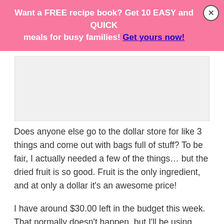Want a FREE recipe book? Get 10 EASY and QUICK meals for busy families! Get yours now!
[Figure (other): Advertisement placeholder box with light gray background]
Does anyone else go to the dollar store for like 3 things and come out with bags full of stuff? To be fair, I actually needed a few of the things… but the dried fruit is so good. Fruit is the only ingredient, and at only a dollar it's an awesome price!
I have around $30.00 left in the budget this week. That normally doesn't happen, but I'll be using